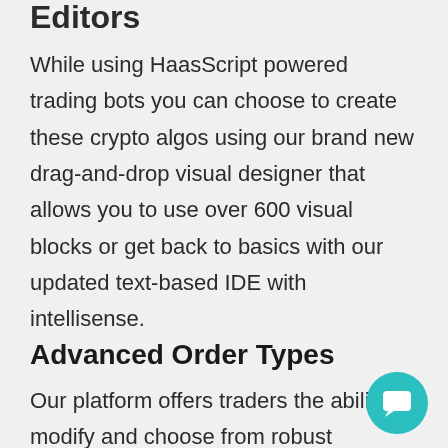Editors
While using HaasScript powered trading bots you can choose to create these crypto algos using our brand new drag-and-drop visual designer that allows you to use over 600 visual blocks or get back to basics with our updated text-based IDE with intellisense.
Advanced Order Types
Our platform offers traders the ability to modify and choose from robust selection of native order types like limit and market orders.